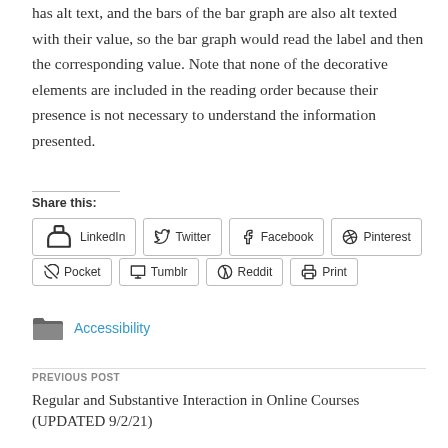has alt text, and the bars of the bar graph are also alt texted with their value, so the bar graph would read the label and then the corresponding value. Note that none of the decorative elements are included in the reading order because their presence is not necessary to understand the information presented.
Share this:
LinkedIn  Twitter  Facebook  Pinterest  Pocket  Tumblr  Reddit  Print
Accessibility
PREVIOUS POST
Regular and Substantive Interaction in Online Courses (UPDATED 9/2/21)